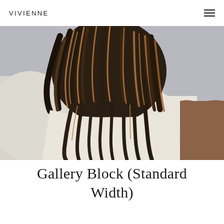VIVIENNE
[Figure (photo): Close-up photograph of a person with long, wavy dark hair with caramel highlights, wearing a cream/off-white oversized sweater, shot from behind/side angle against a light grey background. A brown leather chair edge is visible on the right.]
Gallery Block (Standard Width)